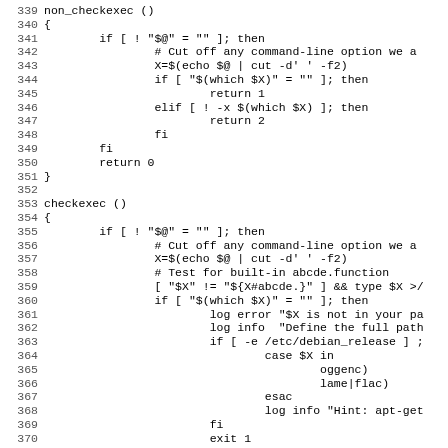Shell script source code, lines 339-371
339 non_checkexec ()
340 {
341     if [ ! "$@" = "" ]; then
342             # Cut off any command-line option we a...
343             X=$(echo $@ | cut -d' ' -f2)
344             if [ "$(which $X)" = "" ]; then
345                     return 1
346             elif [ ! -x $(which $X) ]; then
347                     return 2
348             fi
349     fi
350     return 0
351 }
352
353 checkexec ()
354 {
355     if [ ! "$@" = "" ]; then
356             # Cut off any command-line option we a...
357             X=$(echo $@ | cut -d' ' -f2)
358             # Test for built-in abcde.function
359             [ "$X" != "${X#abcde.}" ] && type $X >/...
360             if [ "$(which $X)" = "" ]; then
361                     log error "$X is not in your p...
362                     log info  "Define the full path...
363                     if [ -e /etc/debian_release ] ;
364                             case $X in
365                                     oggenc)
366                                     lame|flac)
367                             esac
368                             log info "Hint: apt-get...
369                     fi
370                     exit 1
371     elif [ ! -x "$(which $X)" ]; then